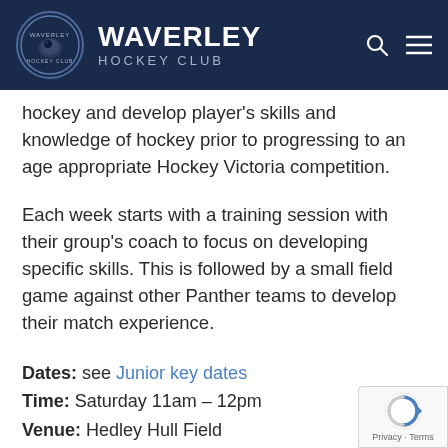WAVERLEY HOCKEY CLUB
hockey and develop player's skills and knowledge of hockey prior to progressing to an age appropriate Hockey Victoria competition.
Each week starts with a training session with their group's coach to focus on developing specific skills. This is followed by a small field game against other Panther teams to develop their match experience.
Dates: see Junior key dates
Time: Saturday 11am – 12pm
Venue: Hedley Hull Field
Cost: $45 per term + annual Hockey Victoria